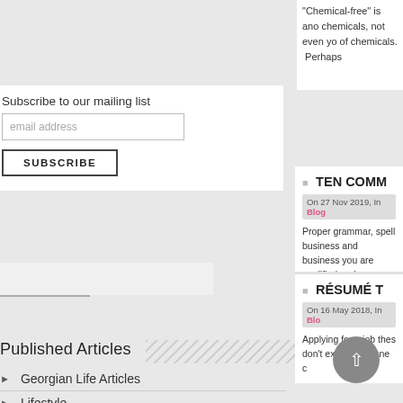"Chemical-free" is ano chemicals, not even yo of chemicals. Perhaps
Subscribe to our mailing list
email address
SUBSCRIBE
TEN COMM
On 27 Nov 2019, In Blog
Proper grammar, spell business and business you are qualified and p
Published Articles
Georgian Life Articles
Lifestyle
Conservation and Ecology
RÉSUMÉ T
On 16 May 2018, In Blo
Applying for a job thes don't expect a phone c